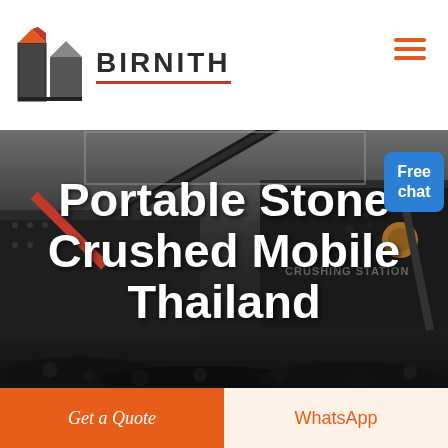BIRNITH
[Figure (photo): Dark industrial photograph of a portable stone crushing station machine with conveyor belts and crushed rock/coal in foreground. Text 'CRUSHING STATION' visible on machinery.]
Portable Stone Crushed Mobile Thailand
Free chat
Get a Quote
WhatsApp